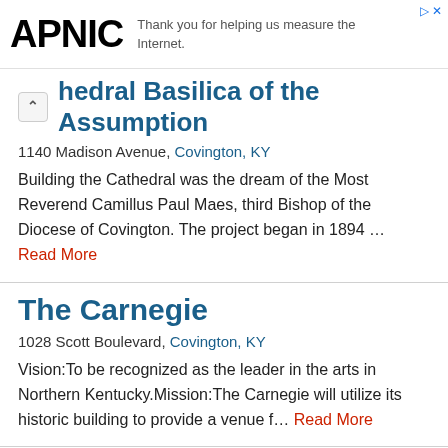APNIC — Thank you for helping us measure the Internet.
Cathedral Basilica of the Assumption
1140 Madison Avenue, Covington, KY
Building the Cathedral was the dream of the Most Reverend Camillus Paul Maes, third Bishop of the Diocese of Covington. The project began in 1894 … Read More
The Carnegie
1028 Scott Boulevard, Covington, KY
Vision:To be recognized as the leader in the arts in Northern Kentucky.Mission:The Carnegie will utilize its historic building to provide a venue f… Read More